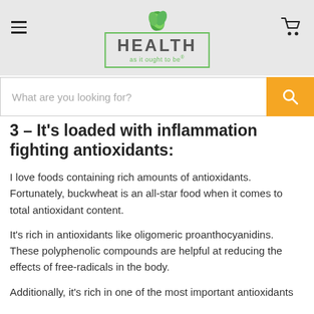HEALTH as it ought to be
What are you looking for?
3 – It's loaded with inflammation fighting antioxidants:
I love foods containing rich amounts of antioxidants. Fortunately, buckwheat is an all-star food when it comes to total antioxidant content.
It's rich in antioxidants like oligomeric proanthocyanidins. These polyphenolic compounds are helpful at reducing the effects of free-radicals in the body.
Additionally, it's rich in one of the most important antioxidants